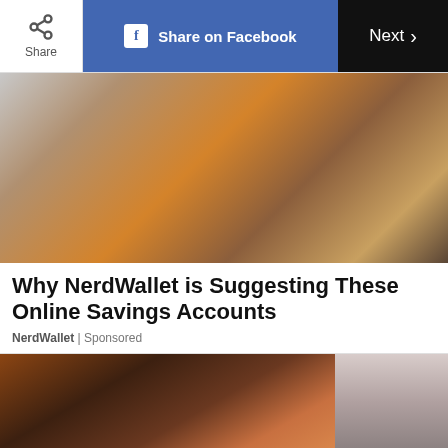[Figure (screenshot): Top navigation bar with Share button, Share on Facebook button (blue), and Next button (black)]
[Figure (photo): Woman in orange sweater holding smartphone, looking at drawer or box with clothing]
Why NerdWallet is Suggesting These Online Savings Accounts
NerdWallet | Sponsored
[Figure (photo): Two advertisement photos side by side at bottom — left shows aerial view of person on floor with yoga mat, right shows partial portrait]
ADVERTISEMENT
[Figure (screenshot): The Daily Word Search advertisement banner with letter grid M U S M U L L Y U P J V L C S A A P V S U L I]